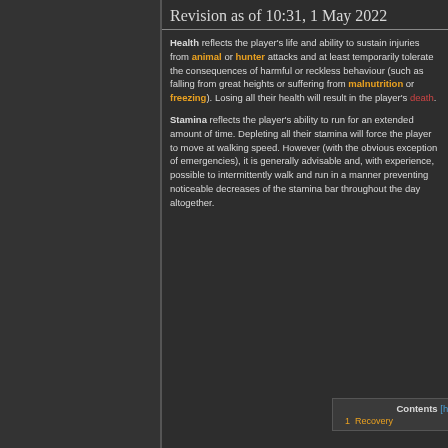Revision as of 10:31, 1 May 2022
Health reflects the player's life and ability to sustain injuries from animal or hunter attacks and at least temporarily tolerate the consequences of harmful or reckless behaviour (such as falling from great heights or suffering from malnutrition or freezing). Losing all their health will result in the player's death.
Stamina reflects the player's ability to run for an extended amount of time. Depleting all their stamina will force the player to move at walking speed. However (with the obvious exception of emergencies), it is generally advisable and, with experience, possible to intermittently walk and run in a manner preventing noticeable decreases of the stamina bar throughout the day altogether.
Contents [hide]
1 Recovery